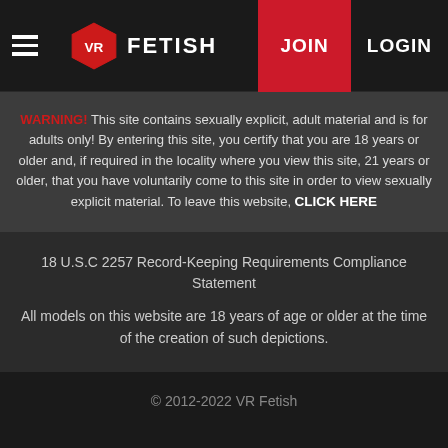VR FETISH | JOIN | LOGIN
WARNING! This site contains sexually explicit, adult material and is for adults only! By entering this site, you certify that you are 18 years or older and, if required in the locality where you view this site, 21 years or older, that you have voluntarily come to this site in order to view sexually explicit material. To leave this website, CLICK HERE
18 U.S.C 2257 Record-Keeping Requirements Compliance Statement
All models on this website are 18 years of age or older at the time of the creation of such depictions.
© 2012-2022 VR Fetish